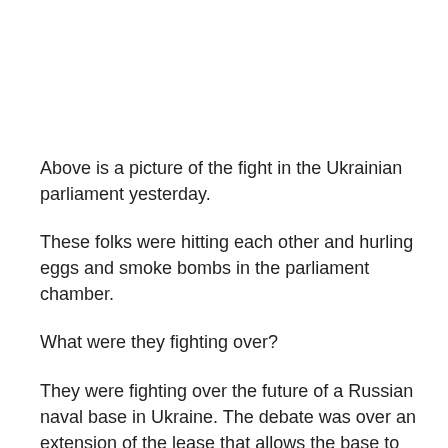Above is a picture of the fight in the Ukrainian parliament yesterday.
These folks were hitting each other and hurling eggs and smoke bombs in the parliament chamber.
What were they fighting over?
They were fighting over the future of a Russian naval base in Ukraine. The debate was over an extension of the lease that allows the base to remain in Ukraine.
In exchange for use of the base, Russia is cutting the price of natural gas it exports to Ukraine.